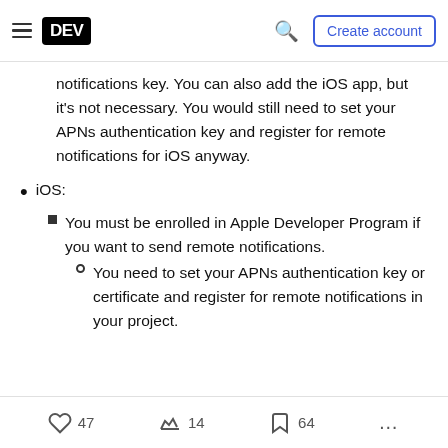DEV | Create account
notifications key. You can also add the iOS app, but it's not necessary. You would still need to set your APNs authentication key and register for remote notifications for iOS anyway.
iOS:
You must be enrolled in Apple Developer Program if you want to send remote notifications.
You need to set your APNs authentication key or certificate and register for remote notifications in your project.
47  14  64  ...